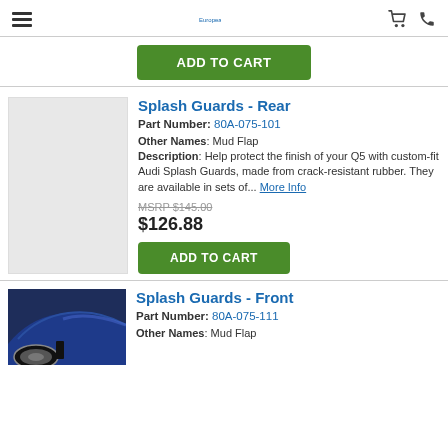European OEM Parts Direct
ADD TO CART
Splash Guards - Rear
Part Number: 80A-075-101
Other Names: Mud Flap
Description: Help protect the finish of your Q5 with custom-fit Audi Splash Guards, made from crack-resistant rubber. They are available in sets of... More Info
MSRP $145.00
$126.88
ADD TO CART
Splash Guards - Front
Part Number: 80A-075-111
Other Names: Mud Flap